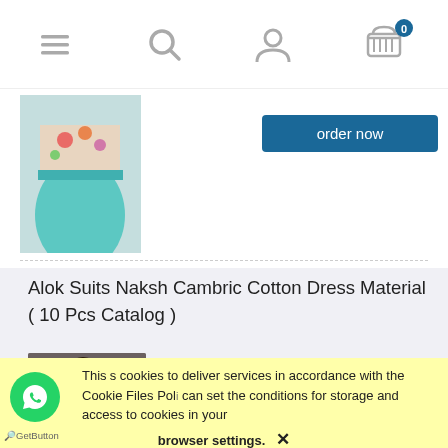[Figure (screenshot): Navigation bar with hamburger menu, search, user, and cart icons (cart showing 0)]
[Figure (photo): Partial product image showing a teal/turquoise Indian dress with floral embroidery at top of page]
Alok Suits Naksh Cambric Cotton Dress Material ( 10 Pcs Catalog )
[Figure (photo): Photo of a woman wearing a teal/green Indian salwar kameez with embroidery, standing in front of a mirror]
₹ 6,290.00
( 1 pcs = ₹ 629.00 )
excl. 5% TAX, excl. shipping costs
order now
This uses cookies to deliver services in accordance with the Cookie Files Policy. You can set the conditions for storage and access to cookies in your browser settings. ✕